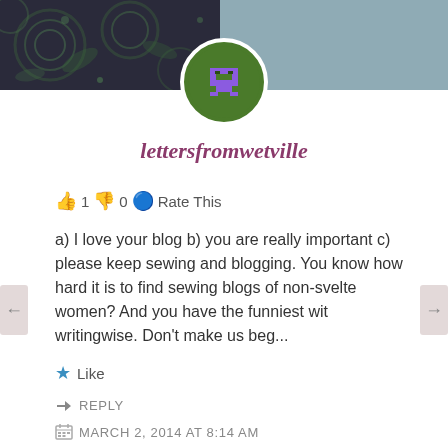[Figure (illustration): Blog header banner with dark paisley/swirl pattern on left and steel blue on right, with a circular avatar in the center showing a pixel-art space invader in purple on a green background]
lettersfromwetville
👍 1 👎 0 🔵 Rate This
a) I love your blog b) you are really important c) please keep sewing and blogging. You know how hard it is to find sewing blogs of non-svelte women? And you have the funniest wit writingwise. Don't make us beg...
★ Like
↪ REPLY
MARCH 2, 2014 AT 8:14 AM